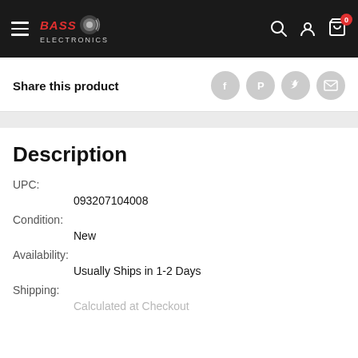BASS ELECTRONICS
Share this product
Description
UPC:
093207104008
Condition:
New
Availability:
Usually Ships in 1-2 Days
Shipping:
Calculated at Checkout